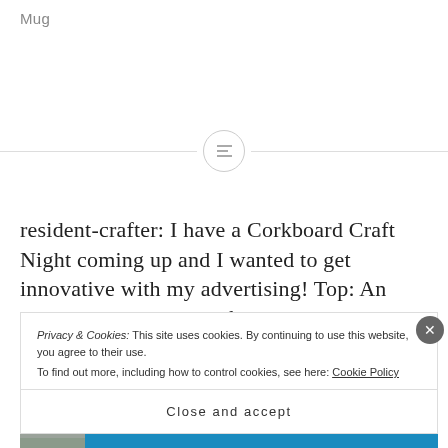Mug
[Figure (other): Decorative divider with a centered circle icon containing three horizontal lines (hamburger/menu icon), flanked by horizontal lines on each side.]
resident-crafter: I have a Corkboard Craft Night coming up and I wanted to get innovative with my advertising! Top: An ACTUAL corkboard I found that I decorated to advertise the
Privacy & Cookies: This site uses cookies. By continuing to use this website, you agree to their use.
To find out more, including how to control cookies, see here: Cookie Policy
Close and accept
[Figure (photo): Bottom banner advertisement in blue with partial image on left, italic text 'for life' in white, and 'DAY ONE' logo text on right.]